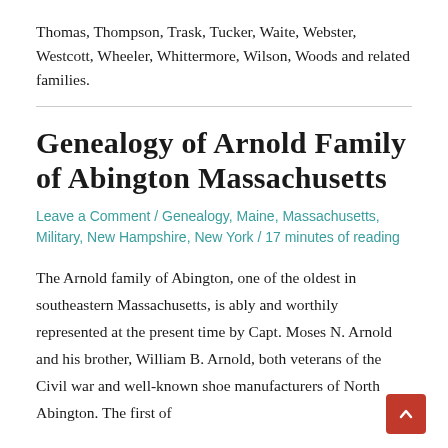Thomas, Thompson, Trask, Tucker, Waite, Webster, Westcott, Wheeler, Whittermore, Wilson, Woods and related families.
Genealogy of Arnold Family of Abington Massachusetts
Leave a Comment / Genealogy, Maine, Massachusetts, Military, New Hampshire, New York / 17 minutes of reading
The Arnold family of Abington, one of the oldest in southeastern Massachusetts, is ably and worthily represented at the present time by Capt. Moses N. Arnold and his brother, William B. Arnold, both veterans of the Civil war and well-known shoe manufacturers of North Abington. The first of